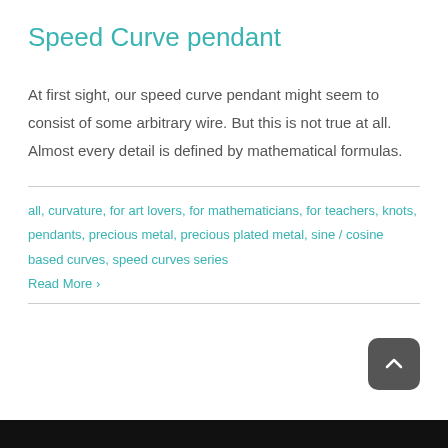Speed Curve pendant
At first sight, our speed curve pendant might seem to consist of some arbitrary wire. But this is not true at all. Almost every detail is defined by mathematical formulas.
all, curvature, for art lovers, for mathematicians, for teachers, knots, pendants, precious metal, precious plated metal, sine / cosine based curves, speed curves series
Read More ›